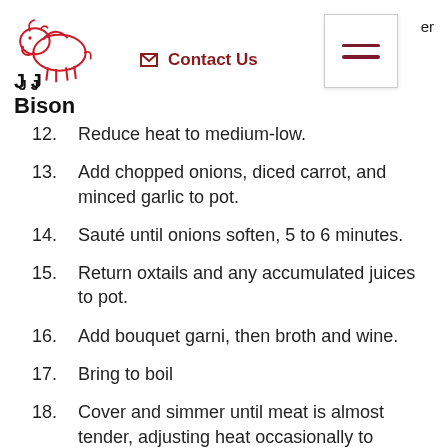JJ Bison | Contact Us
12. Reduce heat to medium-low.
13. Add chopped onions, diced carrot, and minced garlic to pot.
14. Sauté until onions soften, 5 to 6 minutes.
15. Return oxtails and any accumulated juices to pot.
16. Add bouquet garni, then broth and wine.
17. Bring to boil
18. Cover and simmer until meat is almost tender, adjusting heat occasionally to maintain gentle simmer, about 3 hours.